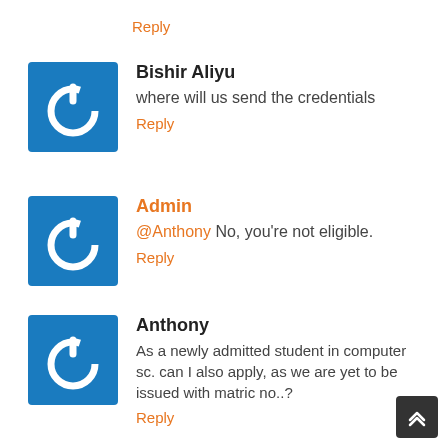Reply
[Figure (logo): Blue square icon with white power button symbol]
Bishir Aliyu
where will us send the credentials
Reply
[Figure (logo): Blue square icon with white power button symbol]
Admin
@Anthony No, you're not eligible.
Reply
[Figure (logo): Blue square icon with white power button symbol]
Anthony
As a newly admitted student in computer sc. can I also apply, as we are yet to be issued with matric no..?
Reply